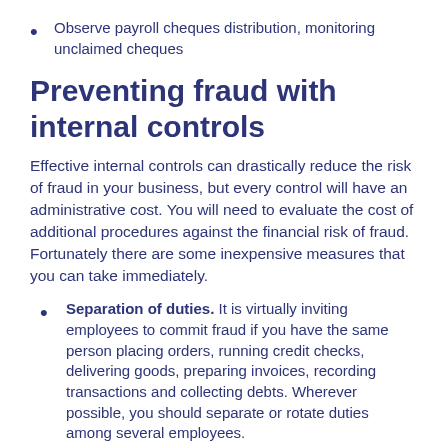Observe payroll cheques distribution, monitoring unclaimed cheques
Preventing fraud with internal controls
Effective internal controls can drastically reduce the risk of fraud in your business, but every control will have an administrative cost. You will need to evaluate the cost of additional procedures against the financial risk of fraud. Fortunately there are some inexpensive measures that you can take immediately.
Separation of duties. It is virtually inviting employees to commit fraud if you have the same person placing orders, running credit checks, delivering goods, preparing invoices, recording transactions and collecting debts. Wherever possible, you should separate or rotate duties among several employees.
Requiring purchase or payment authorisation. Decide on a reasonable figure and ensure that single